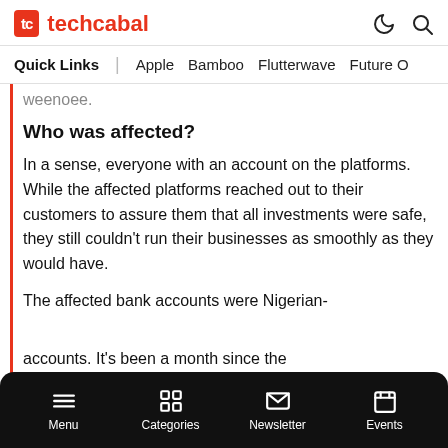techcabal
Quick Links | Apple  Bamboo  Flutterwave  Future O
weenoee.
Who was affected?
In a sense, everyone with an account on the platforms. While the affected platforms reached out to their customers to assure them that all investments were safe, they still couldn’t run their businesses as smoothly as they would have.
The affected bank accounts were Nigerian-
accounts. It’s been a month since the